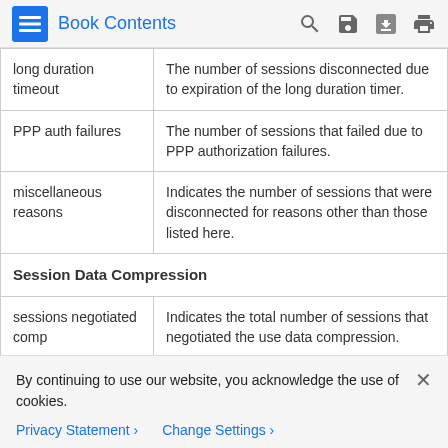Book Contents
| long duration timeout | The number of sessions disconnected due to expiration of the long duration timer. |
| PPP auth failures | The number of sessions that failed due to PPP authorization failures. |
| miscellaneous reasons | Indicates the number of sessions that were disconnected for reasons other than those listed here. |
| Session Data Compression |  |
| sessions negotiated comp | Indicates the total number of sessions that negotiated the use data compression. |
By continuing to use our website, you acknowledge the use of cookies.
Privacy Statement > Change Settings >